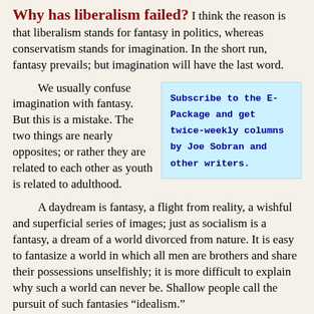Why has liberalism failed? I think the reason is that liberalism stands for fantasy in politics, whereas conservatism stands for imagination. In the short run, fantasy prevails; but imagination will have the last word.
We usually confuse imagination with fantasy. But this is a mistake. The two things are nearly opposites; or rather they are related to each other as youth is related to adulthood.
Subscribe to the E-Package and get twice-weekly columns by Joe Sobran and other writers.
A daydream is fantasy, a flight from reality, a wishful and superficial series of images; just as socialism is a fantasy, a dream of a world divorced from nature. It is easy to fantasize a world in which all men are brothers and share their possessions unselfishly; it is more difficult to explain why such a world can never be. Shallow people call the pursuit of such fantasies “idealism.”
Unlike fantasy, real imagination explores reality and possibility. You can’t separate it from the intellect. It takes imagination to see the world as it is, to understand people